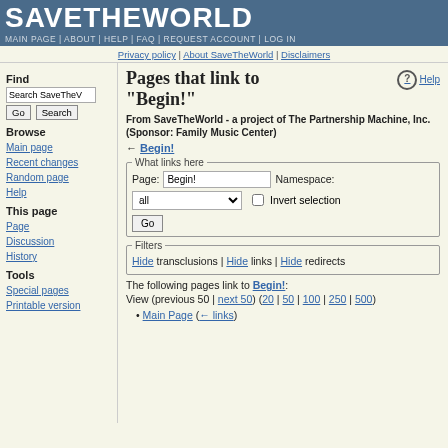SAVETHEWORLD
MAIN PAGE | ABOUT | HELP | FAQ | REQUEST ACCOUNT | LOG IN
Privacy policy | About SaveTheWorld | Disclaimers
Pages that link to "Begin!"
From SaveTheWorld - a project of The Partnership Machine, Inc. (Sponsor: Family Music Center)
← Begin!
What links here
Page: Begin!
Namespace:
all
Invert selection
Go
Filters
Hide transclusions | Hide links | Hide redirects
The following pages link to Begin!:
View (previous 50 | next 50) (20 | 50 | 100 | 250 | 500)
Main Page  (← links)
Find
Browse
Main page
Recent changes
Random page
Help
This page
Page
Discussion
History
Tools
Special pages
Printable version